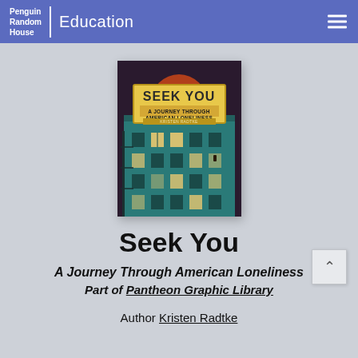Penguin Random House | Education
[Figure (illustration): Book cover of 'Seek You: A Journey Through American Loneliness' by Kristen Radtke. Cover shows a teal apartment building at night with illuminated windows, a marquee sign reading 'SEEK YOU' and 'A JOURNEY THROUGH AMERICAN LONELINESS', with a large orange/red sun or moon in a dark reddish sky behind the building.]
Seek You
A Journey Through American Loneliness
Part of Pantheon Graphic Library
Author Kristen Radtke